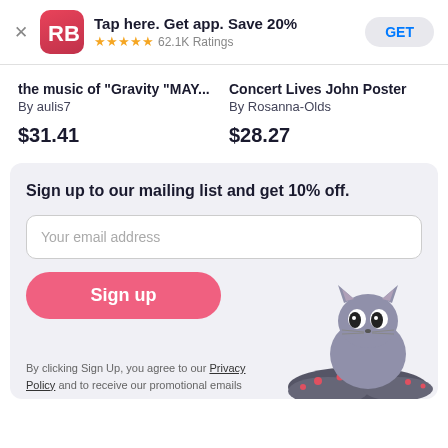[Figure (screenshot): App store banner with RB logo, 'Tap here. Get app. Save 20%', 5-star rating with 62.1K Ratings, and a GET button]
the music of "Gravity "MAY...
By aulis7
$31.41
Concert Lives John Poster
By Rosanna-Olds
$28.27
Sign up to our mailing list and get 10% off.
Your email address
Sign up
By clicking Sign Up, you agree to our Privacy Policy and to receive our promotional emails